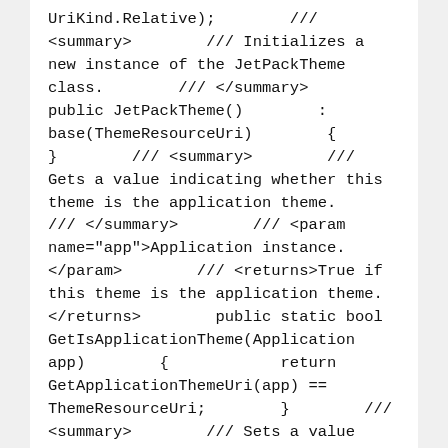UriKind.Relative);        /// <summary>        /// Initializes a new instance of the JetPackTheme class.        /// </summary>        public JetPackTheme()        :        base(ThemeResourceUri)        {        }        /// <summary>        /// Gets a value indicating whether this theme is the application theme.        /// </summary>        /// <param name="app">Application instance.</param>        /// <returns>True if this theme is the application theme.</returns>        public static bool GetIsApplicationTheme(Application app)        {            return GetApplicationThemeUri(app) == ThemeResourceUri;        }        /// <summary>        /// Sets a value indicating whether this theme is the application theme.        /// </summary>        /// <param name="app">Application instance.</param>        /// <param name="value">True if